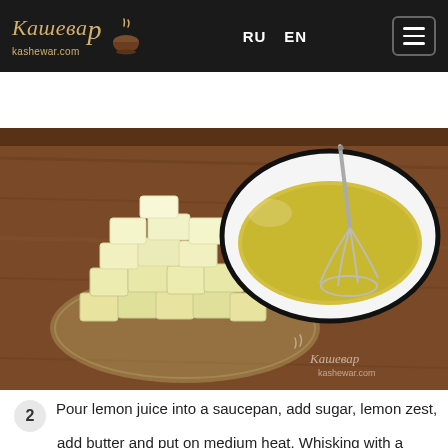Кашевар kashewar.com | RU EN | menu
Enter your keywords
[Figure (photo): A wooden table with a glass plate holding cubed yellow butter and a white bowl containing yellow liquid (lemon mixture) with a whisk. Watermark: Кашевар kashewar.com]
2  Pour lemon juice into a saucepan, add sugar, lemon zest, add butter and put on medium heat. Whisking with a whisk, heat